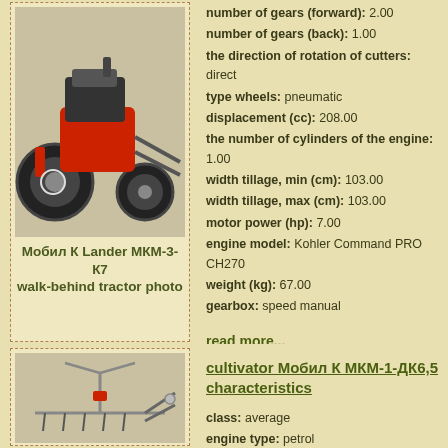[Figure (photo): Walk-behind tractor Мобил К Lander МКМ-3-К7, red and black machine with large wheels]
Мобил К Lander МКМ-3-К7 walk-behind tractor photo
number of gears (forward): 2.00
number of gears (back): 1.00
the direction of rotation of cutters: direct
type wheels: pneumatic
displacement (cc): 208.00
the number of cylinders of the engine: 1.00
width tillage, min (cm): 103.00
width tillage, max (cm): 103.00
motor power (hp): 7.00
engine model: Kohler Command PRO CH270
weight (kg): 67.00
gearbox: speed manual
read more...
cultivator Мобил К МКМ-1-ДК6,5 characteristics
class: average
engine type: petrol
fuel tank capacity (L): 3.60
type: cultivator
number of gears (forward): 1.00
[Figure (photo): Cultivator Мобил К МКМ-1-ДК6,5, light colored machine with handles]